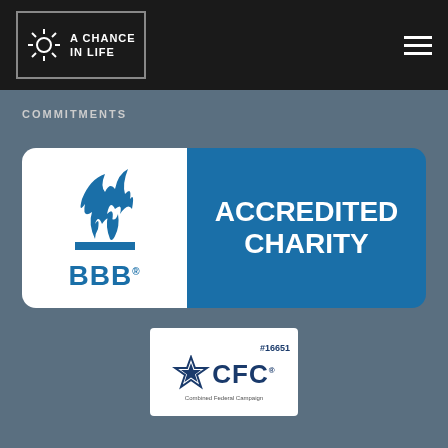A CHANCE IN LIFE
COMMITMENTS
[Figure (logo): BBB Accredited Charity logo with flame emblem on white background and blue panel reading ACCREDITED CHARITY]
[Figure (logo): CFC Combined Federal Campaign logo with star badge, number #16651]